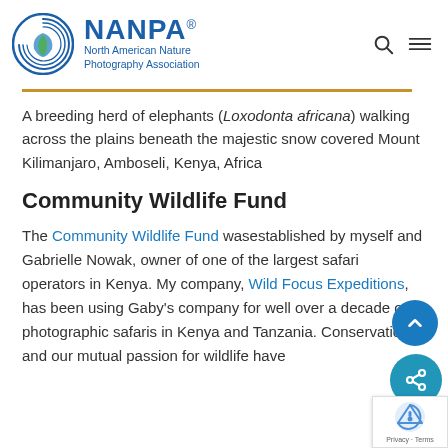NANPA North American Nature Photography Association
A breeding herd of elephants (Loxodonta africana) walking across the plains beneath the majestic snow covered Mount Kilimanjaro, Amboseli, Kenya, Africa
Community Wildlife Fund
The Community Wildlife Fund was established by myself and Gabrielle Nowak, owner of one of the largest safari operators in Kenya. My company, Wild Focus Expeditions, has been using Gaby's company for well over a decade on photographic safaris in Kenya and Tanzania. Conservation and our mutual passion for wildlife have